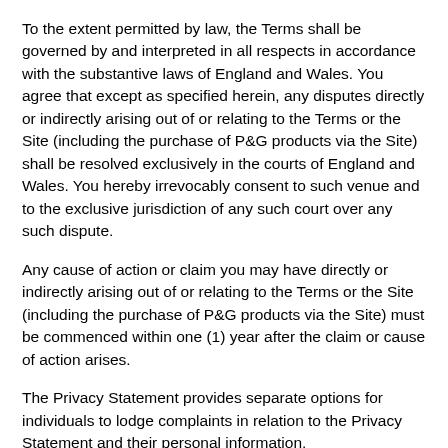To the extent permitted by law, the Terms shall be governed by and interpreted in all respects in accordance with the substantive laws of England and Wales. You agree that except as specified herein, any disputes directly or indirectly arising out of or relating to the Terms or the Site (including the purchase of P&G products via the Site) shall be resolved exclusively in the courts of England and Wales. You hereby irrevocably consent to such venue and to the exclusive jurisdiction of any such court over any such dispute.
Any cause of action or claim you may have directly or indirectly arising out of or relating to the Terms or the Site (including the purchase of P&G products via the Site) must be commenced within one (1) year after the claim or cause of action arises.
The Privacy Statement provides separate options for individuals to lodge complaints in relation to the Privacy Statement and their personal information.
Back to Top
No Waiver